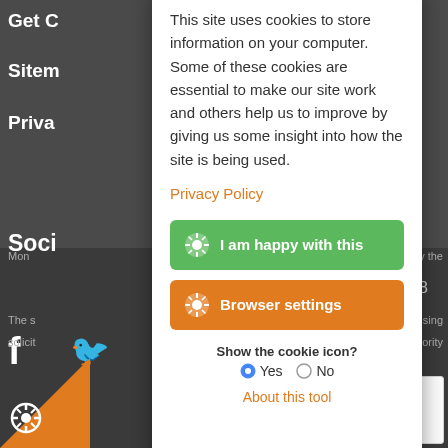[Figure (screenshot): Dark website background with partially visible navigation items: Get (cropped), Sitem (cropped), Priva (cropped), Soci (cropped), social media icons (Facebook, Twitter), footer text with 'ulated by the', '05717018', 'of practising', 'ation Authority', orange triangle with cookie icon at bottom left, reCAPTCHA badge at bottom right]
This site uses cookies to store information on your computer. Some of these cookies are essential to make our site work and others help us to improve by giving us some insight into how the site is being used.
Privacy Policy
I am happy with this
Browser settings
Show the cookie icon?
Yes   No
About this tool